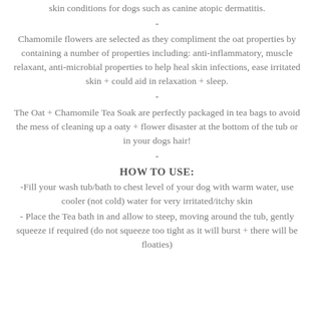skin conditions for dogs such as canine atopic dermatitis.
-
Chamomile flowers are selected as they compliment the oat properties by containing a number of properties including: anti-inflammatory, muscle relaxant, anti-microbial properties to help heal skin infections, ease irritated skin + could aid in relaxation + sleep.
-
The Oat + Chamomile Tea Soak are perfectly packaged in tea bags to avoid the mess of cleaning up a oaty + flower disaster at the bottom of the tub or in your dogs hair!
-
HOW TO USE:
-Fill your wash tub/bath to chest level of your dog with warm water, use cooler (not cold) water for very irritated/itchy skin
- Place the Tea bath in and allow to steep, moving around the tub, gently squeeze if required (do not squeeze too tight as it will burst + there will be floaties)